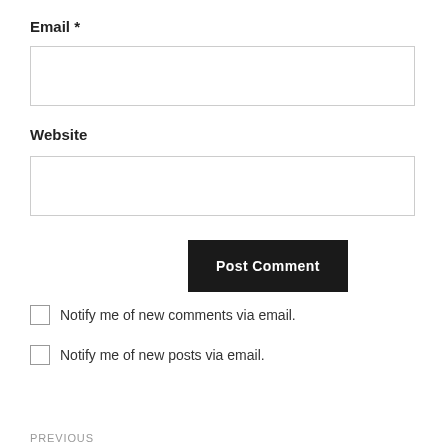Email *
[Figure (other): Text input field for Email]
Website
[Figure (other): Text input field for Website]
[Figure (other): Post Comment button (dark background, white bold text)]
Notify me of new comments via email.
Notify me of new posts via email.
PREVIOUS